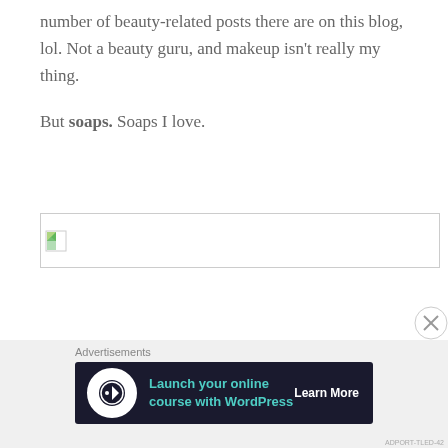number of beauty-related posts there are on this blog, lol. Not a beauty guru, and makeup isn't really my thing.
But soaps. Soaps I love.
[Figure (photo): Broken image placeholder with small image icon in top-left corner, bordered rectangle]
Advertisements
[Figure (infographic): Dark advertisement banner: Launch your online course with WordPress - Learn More button, with circular WordPress-style icon]